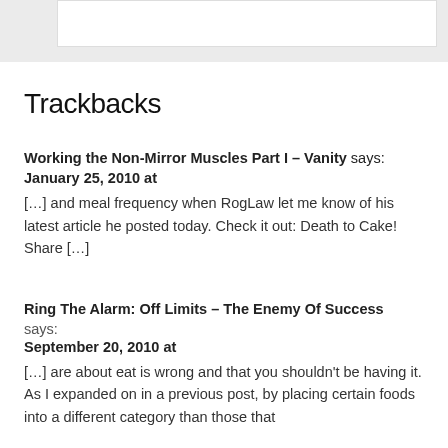Trackbacks
Working the Non-Mirror Muscles Part I – Vanity says:
January 25, 2010 at
[…] and meal frequency when RogLaw let me know of his latest article he posted today.  Check it out: Death to Cake! Share […]
Ring The Alarm: Off Limits – The Enemy Of Success says:
September 20, 2010 at
[…] are about eat is wrong and that you shouldn't be having it. As I expanded on in a previous post, by placing certain foods into a different category than those that